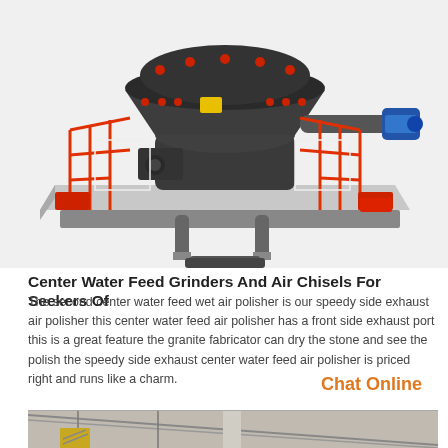[Figure (photo): Industrial cone crusher machine with red safety railings and guard structures, mounted on a black base with hydraulic cylinders. Blue motor visible on the right side.]
Center Water Feed Grinders And Air Chisels For Seekers Of
The second center water feed wet air polisher is our speedy side exhaust air polisher this center water feed air polisher has a front side exhaust port this is a great feature the granite fabricator can dry the stone and see the polish the speedy side exhaust center water feed air polisher is priced right and runs like a charm.
Chat Online
[Figure (photo): Industrial warehouse or factory interior showing structural columns, metal roof trusses, and a yellow metal staircase or platform.]